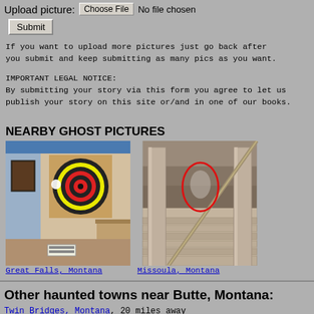Upload picture: Choose File  No file chosen
Submit
If you want to upload more pictures just go back after you submit and keep submitting as many pics as you want.
IMPORTANT LEGAL NOTICE:
By submitting your story via this form you agree to let us publish your story on this site or/and in one of our books.
NEARBY GHOST PICTURES
[Figure (photo): Photo of a room with a dartboard on the wall, labeled Great Falls, Montana]
Great Falls, Montana
[Figure (photo): Photo of stone steps/columns with a red oval circle highlighting an area, labeled Missoula, Montana]
Missoula, Montana
Other haunted towns near Butte, Montana:
Twin Bridges, Montana, 20 miles away